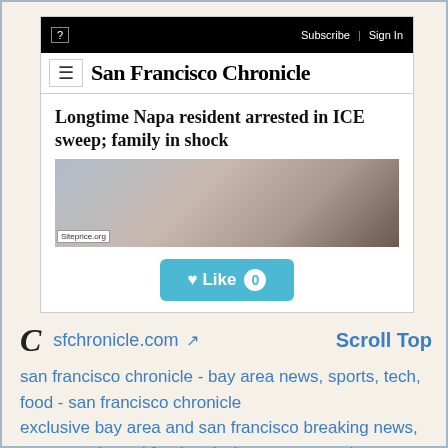[Figure (screenshot): Screenshot of San Francisco Chronicle website showing article 'Longtime Napa resident arrested in ICE sweep; family in shock' with a blurred photo, Like button, and site navigation bar with Subscribe and Sign In links]
sfchronicle.com
Scroll Top
san francisco chronicle - bay area news, sports, tech, food - san francisco chronicle
exclusive bay area and san francisco breaking news, sports, tech, and food and wine coverage, plus enhanced coverage of giants, 49ers and warriors